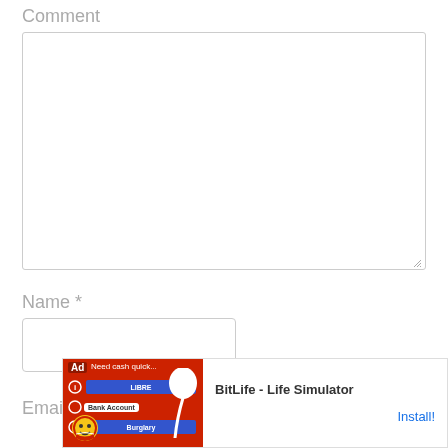Comment
[Figure (screenshot): Empty comment textarea input box with resize handle]
Name *
[Figure (screenshot): Empty name text input box]
Email *
[Figure (screenshot): Ad banner for BitLife - Life Simulator game with Install button]